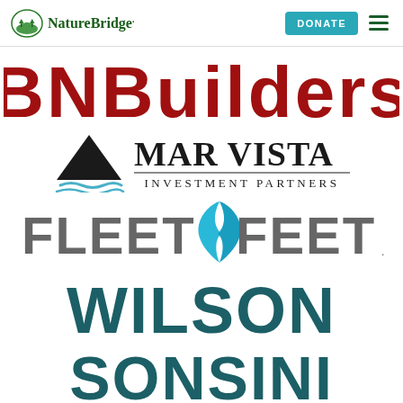[Figure (logo): NatureBridge logo with tree/mountain icon and green text, DONATE button in teal, hamburger menu in dark green]
[Figure (logo): BNBuilders logo in large bold dark red text]
[Figure (logo): Mar Vista Investment Partners logo with mountain and wave mark on left, text on right]
[Figure (logo): Fleet Feet logo with gray text and blue wing/flame icon in center]
[Figure (logo): Wilson Sonsini logo in large bold teal text, two lines: WILSON and SONSINI]